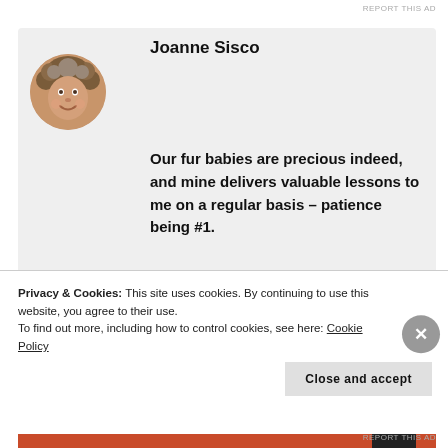REPORT THIS AD
[Figure (photo): Circular avatar photo of Joanne Sisco, a woman with curly grey-brown hair, smiling]
Joanne Sisco
Our fur babies are precious indeed, and mine delivers valuable lessons to me on a regular basis – patience being #1.
Your questions “What’s
Privacy & Cookies: This site uses cookies. By continuing to use this website, you agree to their use.
To find out more, including how to control cookies, see here: Cookie Policy
REPORT THIS AD